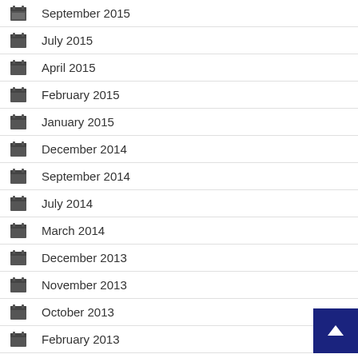September 2015
July 2015
April 2015
February 2015
January 2015
December 2014
September 2014
July 2014
March 2014
December 2013
November 2013
October 2013
February 2013